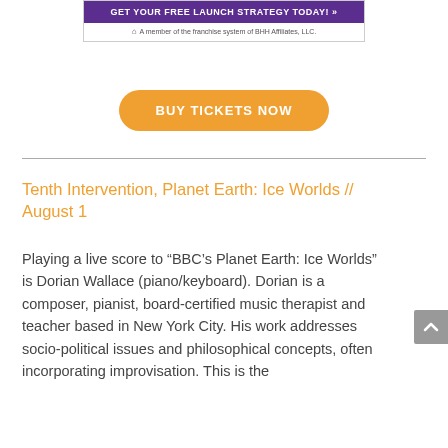[Figure (other): Advertisement banner with purple button reading 'GET YOUR FREE LAUNCH STRATEGY TODAY!' and text 'A member of the franchise system of BHH Affiliates, LLC.']
BUY TICKETS NOW
Tenth Intervention, Planet Earth: Ice Worlds // August 1
Playing a live score to “BBC’s Planet Earth: Ice Worlds” is Dorian Wallace (piano/keyboard). Dorian is a composer, pianist, board-certified music therapist and teacher based in New York City. His work addresses socio-political issues and philosophical concepts, often incorporating improvisation. This is the